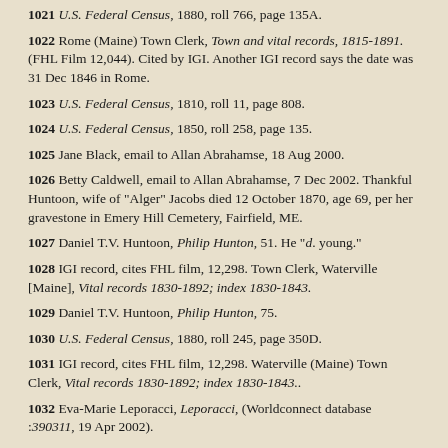1021 U.S. Federal Census, 1880, roll 766, page 135A.
1022 Rome (Maine) Town Clerk, Town and vital records, 1815-1891. (FHL Film 12,044). Cited by IGI. Another IGI record says the date was 31 Dec 1846 in Rome.
1023 U.S. Federal Census, 1810, roll 11, page 808.
1024 U.S. Federal Census, 1850, roll 258, page 135.
1025 Jane Black, email to Allan Abrahamse, 18 Aug 2000.
1026 Betty Caldwell, email to Allan Abrahamse, 7 Dec 2002. Thankful Huntoon, wife of "Alger" Jacobs died 12 October 1870, age 69, per her gravestone in Emery Hill Cemetery, Fairfield, ME.
1027 Daniel T.V. Huntoon, Philip Hunton, 51. He "d. young."
1028 IGI record, cites FHL film, 12,298. Town Clerk, Waterville [Maine], Vital records 1830-1892; index 1830-1843.
1029 Daniel T.V. Huntoon, Philip Hunton, 75.
1030 U.S. Federal Census, 1880, roll 245, page 350D.
1031 IGI record, cites FHL film, 12,298. Waterville (Maine) Town Clerk, Vital records 1830-1892; index 1830-1843..
1032 Eva-Marie Leporacci, Leporacci, (Worldconnect database :390311, 19 Apr 2002).